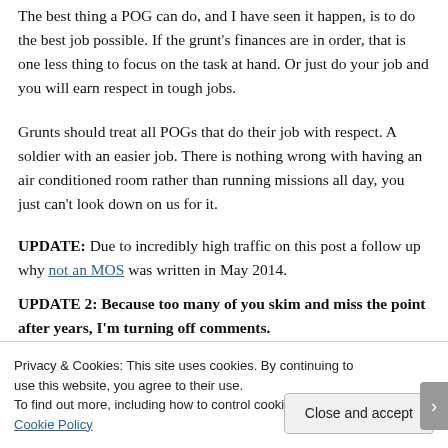The best thing a POG can do, and I have seen it happen, is to do the best job possible. If the grunt’s finances are in order, that is one less thing to focus on the task at hand. Or just do your job and you will earn respect in tough jobs.
Grunts should treat all POGs that do their job with respect. A soldier with an easier job. There is nothing wrong with having an air conditioned room rather than running missions all day, you just can’t look down on us for it.
UPDATE: Due to incredibly high traffic on this post a follow up why infantry is not an MOS was written in May 2014.
UPDATE 2: Because too many of you skim and miss the point after years, I’m turning off comments.
Privacy & Cookies: This site uses cookies. By continuing to use this website, you agree to their use.
To find out more, including how to control cookies, see here: Cookie Policy